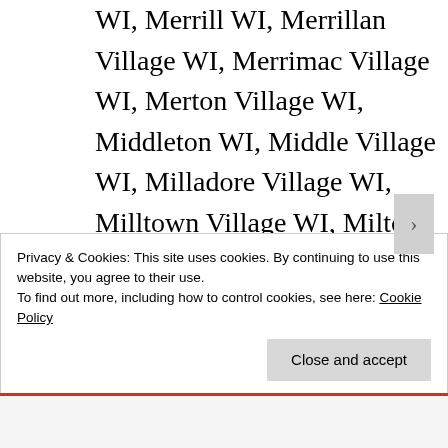WI, Merrill WI, Merrillan Village WI, Merrimac Village WI, Merton Village WI, Middleton WI, Middle Village WI, Milladore Village WI, Milltown Village WI, Milton WI, Milwaukee WI, Mineral Point WI, Minong Village Wisconsin, Mishicot Village Wisconsin, Mondovi WI, Monona WI, Monroe WI, Montello
Privacy & Cookies: This site uses cookies. By continuing to use this website, you agree to their use.
To find out more, including how to control cookies, see here: Cookie Policy
Close and accept